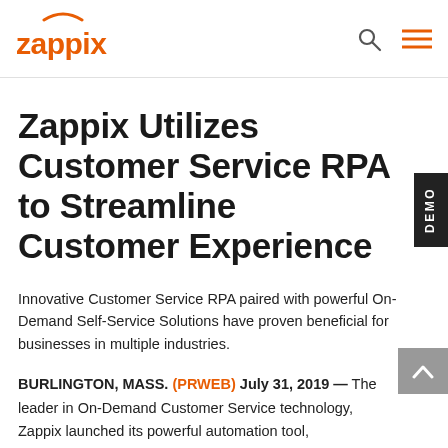Zappix logo, search icon, menu icon
Zappix Utilizes Customer Service RPA to Streamline Customer Experience
Innovative Customer Service RPA paired with powerful On-Demand Self-Service Solutions have proven beneficial for businesses in multiple industries.
BURLINGTON, MASS. (PRWEB) July 31, 2019 — The leader in On-Demand Customer Service technology, Zappix launched its powerful automation tool, Customer Service RPA (Robotic Process Automation)